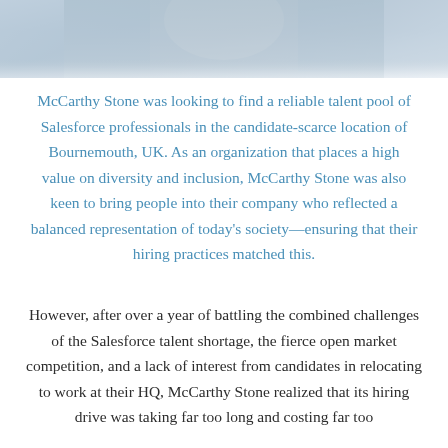[Figure (photo): Partial photo of a person in light-colored clothing, cropped at the top of the page, showing upper body area with blurred background]
McCarthy Stone was looking to find a reliable talent pool of Salesforce professionals in the candidate-scarce location of Bournemouth, UK. As an organization that places a high value on diversity and inclusion, McCarthy Stone was also keen to bring people into their company who reflected a balanced representation of today's society—ensuring that their hiring practices matched this.
However, after over a year of battling the combined challenges of the Salesforce talent shortage, the fierce open market competition, and a lack of interest from candidates in relocating to work at their HQ, McCarthy Stone realized that its hiring drive was taking far too long and costing far too